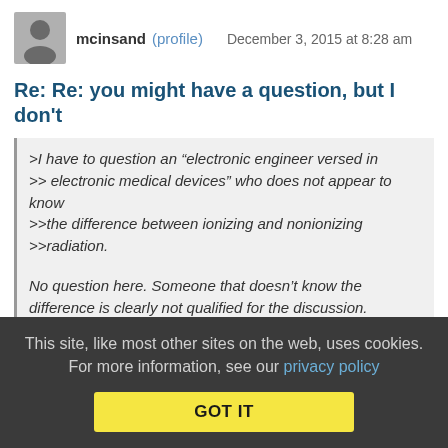mcinsand (profile)   December 3, 2015 at 8:28 am
Re: Re: you might have a question, but I don't
>I have to question an “electronic engineer versed in >> electronic medical devices” who does not appear to know >>the difference between ionizing and nonionizing >>radiation.
No question here. Someone that doesn’t know the difference is clearly not qualified for the discussion.
No, wait a minute… I do have questions. I seriously question whether such a person would be qualified for any actual engineering, at all.
This site, like most other sites on the web, uses cookies. For more information, see our privacy policy  GOT IT